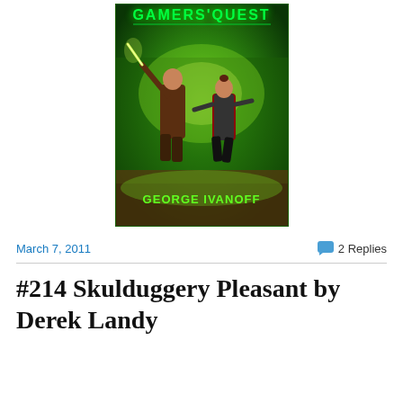[Figure (illustration): Book cover of 'Gamers Quest' by George Ivanoff. Green glowing background with two characters in action poses. Title 'GAMERS QUEST' at top in green text, author name 'GEORGE IVANOFF' at bottom in green text.]
March 7, 2011
2 Replies
#214 Skulduggery Pleasant by Derek Landy